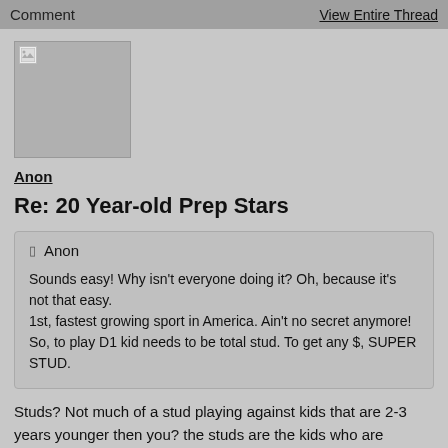Comment   View Entire Thread
[Figure (photo): Avatar placeholder image, broken image icon in top-left corner, gray square background]
Anon
Re: 20 Year-old Prep Stars
Anon
Sounds easy! Why isn't everyone doing it? Oh, because it's not that easy.
1st, fastest growing sport in America. Ain't no secret anymore!
So, to play D1 kid needs to be total stud. To get any $, SUPER STUD.
Studs? Not much of a stud playing against kids that are 2-3 years younger then you? the studs are the kids who are playing against